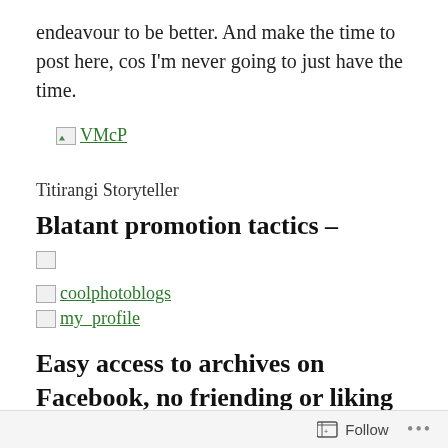endeavour to be better. And make the time to post here, cos I'm never going to just have the time.
[Figure (illustration): Broken image placeholder labeled VMcP]
Titirangi Storyteller
Blatant promotion tactics –
[Figure (illustration): Small broken image placeholder]
[Figure (illustration): Broken image placeholder with link text: coolphotoblogs]
[Figure (illustration): Broken image placeholder with link text: my_profile]
Easy access to archives on Facebook, no friending or liking required.
Follow ...